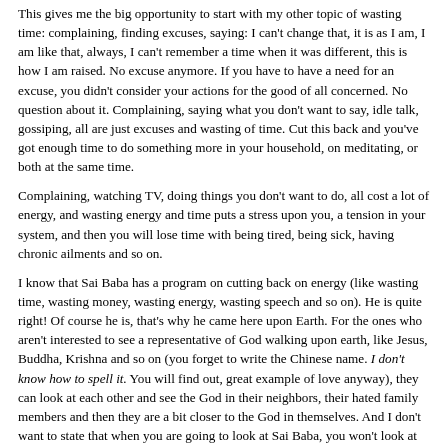This gives me the big opportunity to start with my other topic of wasting time: complaining, finding excuses, saying: I can't change that, it is as I am, I am like that, always, I can't remember a time when it was different, this is how I am raised. No excuse anymore. If you have to have a need for an excuse, you didn't consider your actions for the good of all concerned. No question about it. Complaining, saying what you don't want to say, idle talk, gossiping, all are just excuses and wasting of time. Cut this back and you've got enough time to do something more in your household, on meditating, or both at the same time.
Complaining, watching TV, doing things you don't want to do, all cost a lot of energy, and wasting energy and time puts a stress upon you, a tension in your system, and then you will lose time with being tired, being sick, having chronic ailments and so on.
I know that Sai Baba has a program on cutting back on energy (like wasting time, wasting money, wasting energy, wasting speech and so on). He is quite right! Of course he is, that's why he came here upon Earth. For the ones who aren't interested to see a representative of God walking upon earth, like Jesus, Buddha, Krishna and so on (you forget to write the Chinese name. I don't know how to spell it. You will find out, great example of love anyway), they can look at each other and see the God in their neighbors, their hated family members and then they are a bit closer to the God in themselves. And I don't want to state that when you are going to look at Sai Baba, you won't look at your neighbors for being representatives of God.